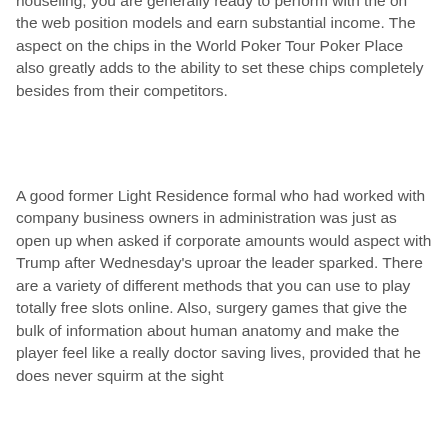houseling, you are generally ready to perform with the on the web position models and earn substantial income. The aspect on the chips in the World Poker Tour Poker Place also greatly adds to the ability to set these chips completely besides from their competitors.
A good former Light Residence formal who had worked with company business owners in administration was just as open up when asked if corporate amounts would aspect with Trump after Wednesday's uproar the leader sparked. There are a variety of different methods that you can use to play totally free slots online. Also, surgery games that give the bulk of information about human anatomy and make the player feel like a really doctor saving lives, provided that he does never squirm at the sight